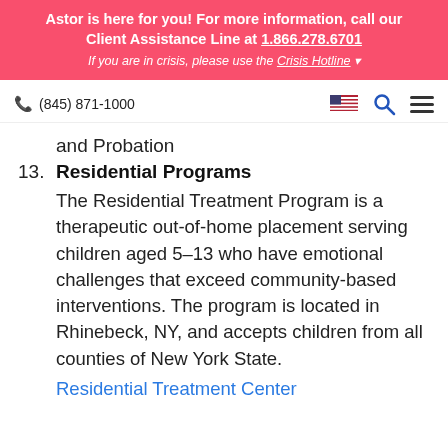Astor is here for you! For more information, call our Client Assistance Line at 1.866.278.6701
If you are in crisis, please use the Crisis Hotline
(845) 871-1000
and Probation
13. Residential Programs
The Residential Treatment Program is a therapeutic out-of-home placement serving children aged 5–13 who have emotional challenges that exceed community-based interventions. The program is located in Rhinebeck, NY, and accepts children from all counties of New York State.
Residential Treatment Center